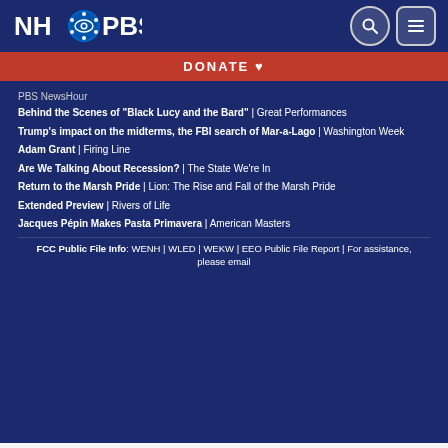NH PBS
DONATE ♥
PBS NewsHour
Behind the Scenes of "Black Lucy and the Bard" | Great Performances
Trump's impact on the midterms, the FBI search of Mar-a-Lago | Washington Week
Adam Grant | Firing Line
Are We Talking About Recession? | The State We're In
Return to the Marsh Pride | Lion: The Rise and Fall of the Marsh Pride
Extended Preview | Rivers of Life
Jacques Pépin Makes Pasta Primavera | American Masters
FCC Public File Info: WENH | WLED | WEKW | EEO Public File Report | For assistance, please email